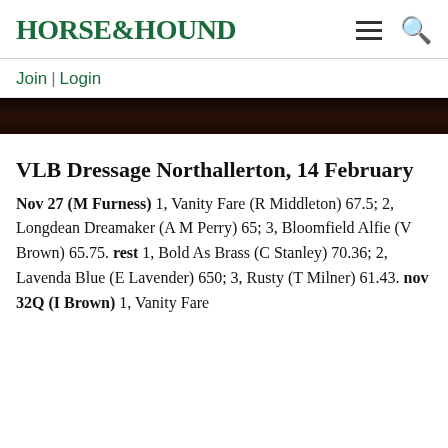HORSE&HOUND
Join | Login
[Figure (photo): Dark image strip, partial photograph visible at top of article]
VLB Dressage Northallerton, 14 February
Nov 27 (M Furness) 1, Vanity Fare (R Middleton) 67.5; 2, Longdean Dreamaker (A M Perry) 65; 3, Bloomfield Alfie (V Brown) 65.75. rest 1, Bold As Brass (C Stanley) 70.36; 2, Lavenda Blue (E Lavender) 650; 3, Rusty (T Milner) 61.43. nov 32Q (I Brown) 1, Vanity Fare